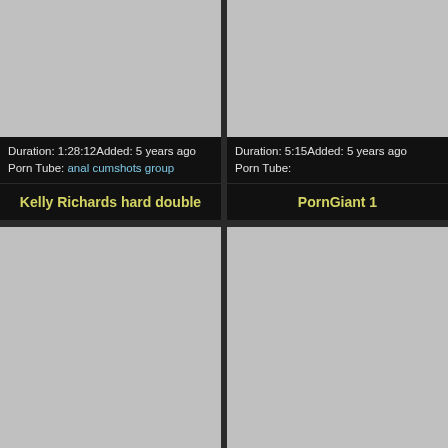[Figure (screenshot): Gray thumbnail placeholder for video]
Duration: 1:28:12Added: 5 years ago
Porn Tube: anal cumshots group
Kelly Richards hard double
[Figure (screenshot): Gray thumbnail placeholder for video]
Duration: 5:15Added: 5 years ago
Porn Tube:
PornGiant 1
[Figure (screenshot): Gray thumbnail placeholder for video]
[Figure (screenshot): Gray thumbnail placeholder for video]